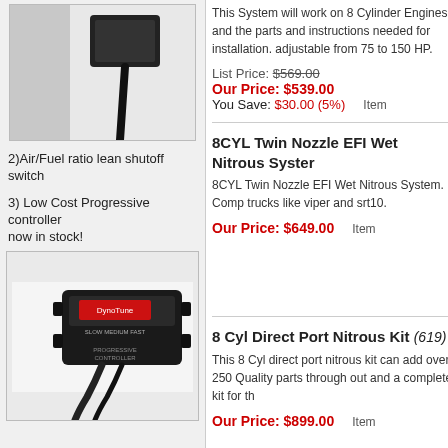[Figure (photo): Photo of a black electrical connector/plug with wiring against a wall]
2)Air/Fuel ratio lean shutoff switch
3) Low Cost Progressive controller now in stock!
[Figure (photo): Photo of a DynoTune progressive controller device (black box with SLOW MEDIUM FAST settings and a flexible cable/neck)]
This System will work on 8 Cylinder Engines and the parts and instructions needed for installation. adjustable from 75 to 150 HP.
List Price: $569.00
Our Price: $539.00
You Save: $30.00 (5%)
Item
8CYL Twin Nozzle EFI Wet Nitrous System
8CYL Twin Nozzle EFI Wet Nitrous System. Comp trucks like viper and srt10.
Our Price: $649.00
Item
8 Cyl Direct Port Nitrous Kit (619)
This 8 Cyl direct port nitrous kit can add over 250 Quality parts through out and a complete kit for th
Our Price: $899.00
Item